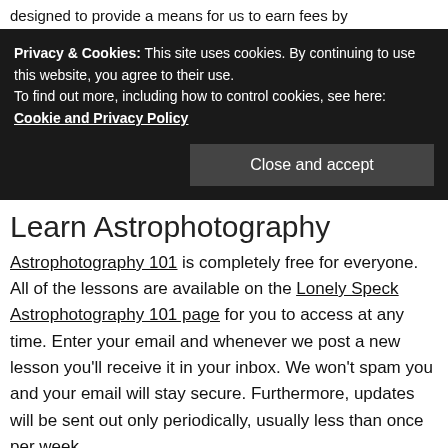designed to provide a means for us to earn fees by
Privacy & Cookies: This site uses cookies. By continuing to use this website, you agree to their use.
To find out more, including how to control cookies, see here: Cookie and Privacy Policy
[Close and accept]
Learn Astrophotography
Astrophotography 101 is completely free for everyone. All of the lessons are available on the Lonely Speck Astrophotography 101 page for you to access at any time. Enter your email and whenever we post a new lesson you'll receive it in your inbox. We won't spam you and your email will stay secure. Furthermore, updates will be sent out only periodically, usually less than once per week.
I have read and agree to the Privacy Policy. I wish to receive emails.